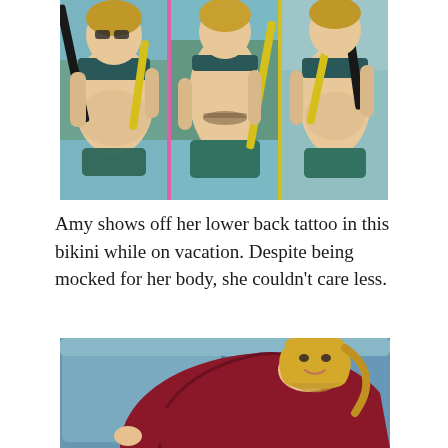[Figure (photo): Three-panel collage of a woman in a teal bikini holding a paddle while on vacation at the water. Left panel shows front view, middle panel shows back view revealing a lower back tattoo, right panel shows a side/front view.]
Amy shows off her lower back tattoo in this bikini while on vacation. Despite being mocked for her body, she couldn't care less.
[Figure (photo): A blonde woman in a dark red/crimson dress lying on a blue sofa, smiling at the camera.]